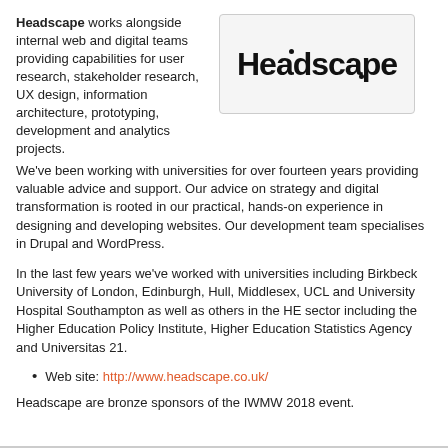Headscape works alongside internal web and digital teams providing capabilities for user research, stakeholder research, UX design, information architecture, prototyping, development and analytics projects.
[Figure (logo): Headscape logo in bold black text on light grey background with border]
We've been working with universities for over fourteen years providing valuable advice and support. Our advice on strategy and digital transformation is rooted in our practical, hands-on experience in designing and developing websites. Our development team specialises in Drupal and WordPress.
In the last few years we've worked with universities including Birkbeck University of London, Edinburgh, Hull, Middlesex, UCL and University Hospital Southampton as well as others in the HE sector including the Higher Education Policy Institute, Higher Education Statistics Agency and Universitas 21.
Web site: http://www.headscape.co.uk/
Headscape are bronze sponsors of the IWMW 2018 event.